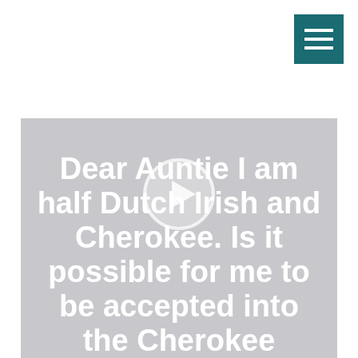[Figure (screenshot): Teal/dark cyan hamburger menu button icon in the top right corner]
[Figure (screenshot): A video thumbnail with a light gray background showing a play button icon (circle with triangle) in the center, and large bold white text below reading: Dear Auntie I am half Dutch Irish and Cherokee. Is it possible for me to be accepted into the Cherokee]